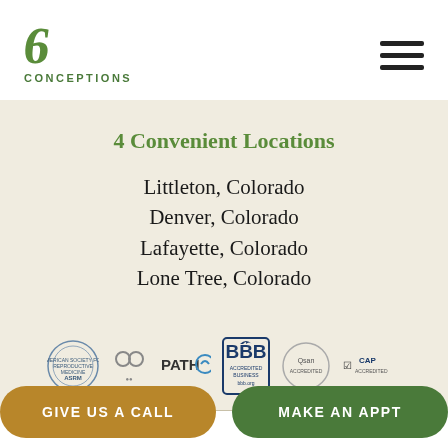[Figure (logo): Conceptions fertility clinic logo — stylized green '6' icon above text 'CONCEPTIONS']
[Figure (other): Hamburger menu icon — three horizontal dark lines]
4 Convenient Locations
Littleton, Colorado
Denver, Colorado
Lafayette, Colorado
Lone Tree, Colorado
[Figure (logo): Row of accreditation logos: ASRM, circle-people icon, PATH logo, BBB Accredited Business, QQAN/Qsan seal, CAP Accredited logo]
[Figure (other): Two CTA buttons: 'GIVE US A CALL' (golden/olive) and 'MAKE AN APPT' (green)]